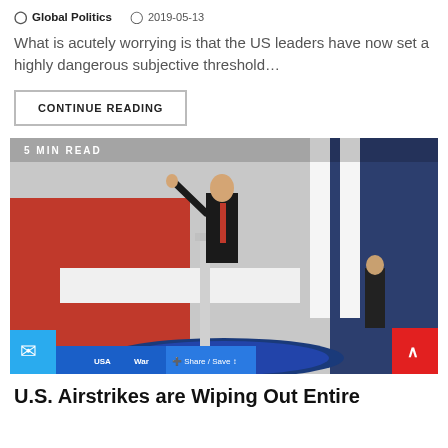Global Politics  2019-05-13
What is acutely worrying is that the US leaders have now set a highly dangerous subjective threshold…
CONTINUE READING
[Figure (photo): Person in dark suit with red tie standing at podium, raising one hand, in front of patriotic red-white decor with US seal on floor. Text overlay: 5 MIN READ. Tags: Gangsters, USA, War. Share/Save button visible.]
U.S. Airstrikes are Wiping Out Entire